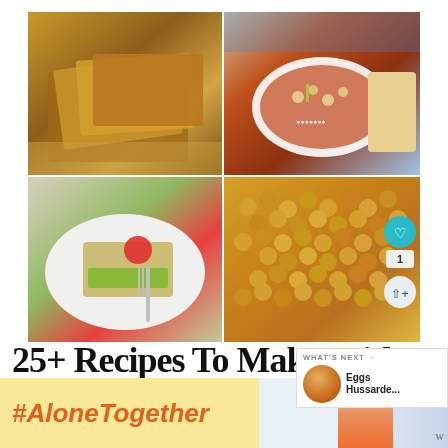[Figure (photo): 2x2 grid of food photos: top-left shows sliced bread loaf on wooden cutting board, top-right shows a bowl of vegetable and bean soup with bread in background, bottom-left shows a slice of frittata with herbs on a white plate with fork, bottom-right shows a tray of roasted chickpeas/beans]
25+ Recipes To Make With Pantry Staples
EASY RECIPES TO MAKE WITH THINGS YOU TYPICALLY HAVE
WHAT'S NEXT → Eggs Hussarde...
#AloneTogether